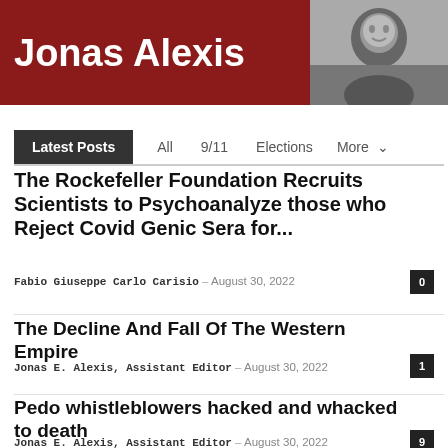[Figure (logo): Jonas Alexis website header banner with dark red background, bold white text 'Jonas Alexis', and a black and white photo of a smiling man on the right]
Latest Posts | All | 9/11 | Elections | More
The Rockefeller Foundation Recruits Scientists to Psychoanalyze those who Reject Covid Genic Sera for...
Fabio Giuseppe Carlo Carisio – August 30, 2022  0
The Decline And Fall Of The Western Empire
Jonas E. Alexis, Assistant Editor – August 30, 2022  1
Pedo whistleblowers hacked and whacked to death
Jonas E. Alexis, Assistant Editor – August 30, 2022  9